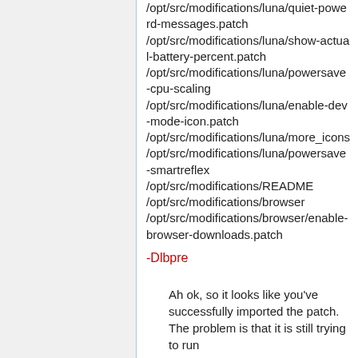/opt/src/modifications/luna/quiet-powerd-messages.patch
/opt/src/modifications/luna/show-actual-battery-percent.patch
/opt/src/modifications/luna/powersave-cpu-scaling
/opt/src/modifications/luna/enable-dev-mode-icon.patch
/opt/src/modifications/luna/more_icons_per_
/opt/src/modifications/luna/powersave-smartreflex
/opt/src/modifications/README
/opt/src/modifications/browser
/opt/src/modifications/browser/enable-browser-downloads.patch
-Dlbpre
Ah ok, so it looks like you've successfully imported the patch. The problem is that it is still trying to run